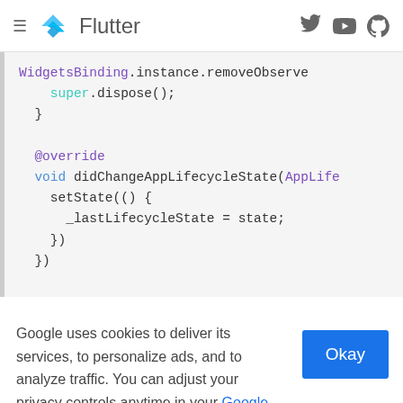Flutter
[Figure (screenshot): Flutter documentation website header with hamburger menu, Flutter logo, and social media icons (Twitter, YouTube, GitHub)]
WidgetsBinding.instance.removeObserve
    super.dispose();
  }

  @override
  void didChangeAppLifecycleState(AppLife
    setState(() {
      _lastLifecycleState = state;
    })
Google uses cookies to deliver its services, to personalize ads, and to analyze traffic. You can adjust your privacy controls anytime in your Google settings. Learn more.